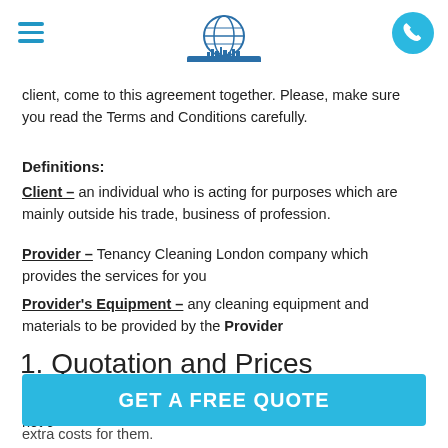TenancyCleaning-London.co.uk
client, come to this agreement together. Please, make sure you read the Terms and Conditions carefully.
Definitions:
Client – an individual who is acting for purposes which are mainly outside his trade, business of profession.
Provider – Tenancy Cleaning London company which provides the services for you
Provider's Equipment – any cleaning equipment and materials to be provided by the Provider
1. Quotation and Prices
1.1 All of the prices listed on the website are final and we do not c'
GET A FREE QUOTE
extra costs for them.